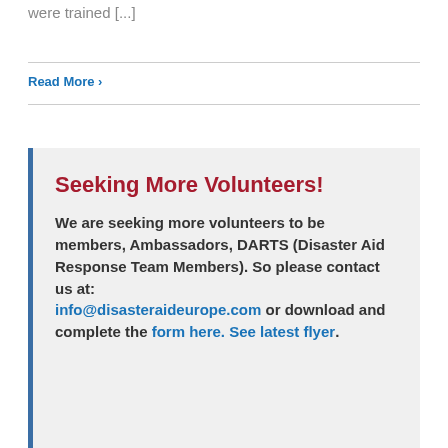were trained [...]
Read More ›
Seeking More Volunteers!
We are seeking more volunteers to be members, Ambassadors, DARTS (Disaster Aid Response Team Members). So please contact us at: info@disasteraideurope.com or download and complete the form here. See latest flyer.